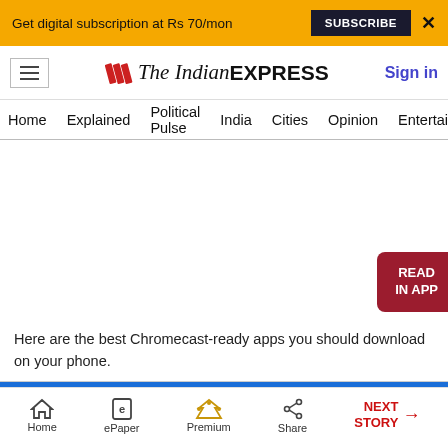Get digital subscription at Rs 70/mon  SUBSCRIBE  X
The Indian EXPRESS  Sign in
Home  Explained  Political Pulse  India  Cities  Opinion  Entertainment
[Figure (screenshot): Blank white content area with a dark red 'READ IN APP' button at bottom right]
Here are the best Chromecast-ready apps you should download on your phone.
Home  ePaper  Premium  Share  NEXT STORY →